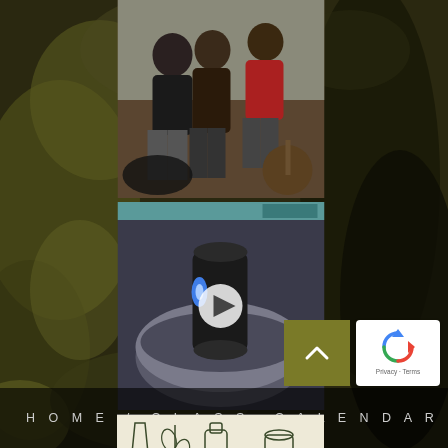[Figure (photo): Background photo of mossy dark rocky terrain with yellow-green moss patches]
[Figure (photo): Group of people sitting outdoors, one person in red jacket, another in black, gathered together]
[Figure (photo): Video thumbnail showing a black vase/dispenser over a metal bowl with blue LED light, with a play button overlay]
[Figure (illustration): Illustrated pattern with tea/beverage related objects: wine glass, leaves, bottle, can, jar, sprouts on white background]
[Figure (other): Scroll-to-top button, olive/dark yellow square with upward caret arrow]
[Figure (other): reCAPTCHA widget showing blue recycling-style arrows logo with Privacy and Terms text]
HOME / CLASS CALENDAR